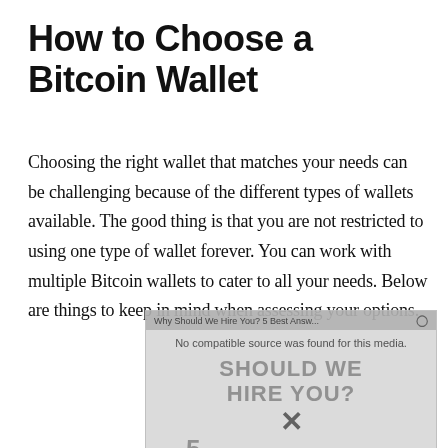How to Choose a Bitcoin Wallet
Choosing the right wallet that matches your needs can be challenging because of the different types of wallets available. The good thing is that you are not restricted to using one type of wallet forever. You can work with multiple Bitcoin wallets to cater to all your needs. Below are things to keep in mind when assessing your options.
[Figure (other): A video advertisement overlay showing 'Why Should We Hire You? 5 Best Answers' with text 'No compatible source was found for this media.' and large text 'SHOULD WE HIRE YOU?' with a close button X, number 5, and 'Best Answers' text.]